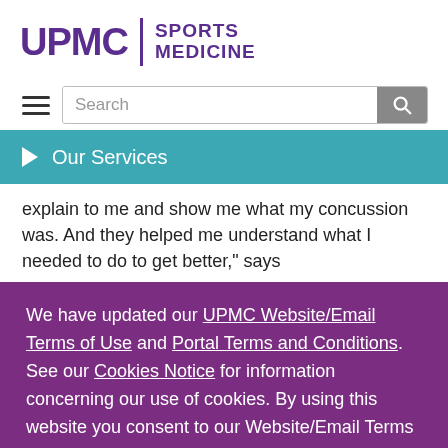[Figure (logo): UPMC Sports Medicine logo in purple]
[Figure (screenshot): Search bar with hamburger menu icon and magnifying glass button]
[Figure (screenshot): Our Services navigation bar in teal with right-pointing triangle]
explain to me and show me what my concussion was. And they helped me understand what I needed to do to get better," says
We have updated our UPMC Website/Email Terms of Use and Portal Terms and Conditions. See our Cookies Notice for information concerning our use of cookies. By using this website you consent to our Website/Email Terms of Use.
[Figure (screenshot): I Accept button in white on purple background]